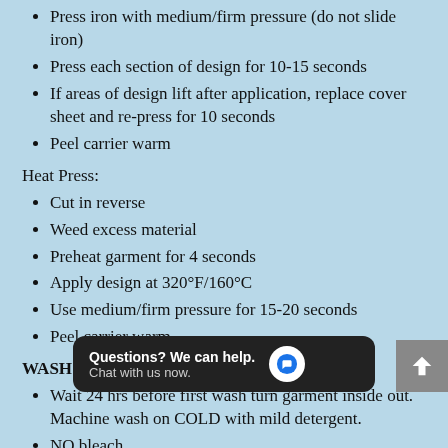Press iron with medium/firm pressure (do not slide iron)
Press each section of design for 10-15 seconds
If areas of design lift after application, replace cover sheet and re-press for 10 seconds
Peel carrier warm
Heat Press:
Cut in reverse
Weed excess material
Preheat garment for 4 seconds
Apply design at 320°F/160°C
Use medium/firm pressure for 15-20 seconds
Peel carrier warm
WASH INSTRUCTIONS:
Wait 24 hrs before first wash turn garment inside out. Machine wash on COLD with mild detergent.
NO bleach
Dry at a low heat setting in household machines.
Do NOT dry clean or use iron on design